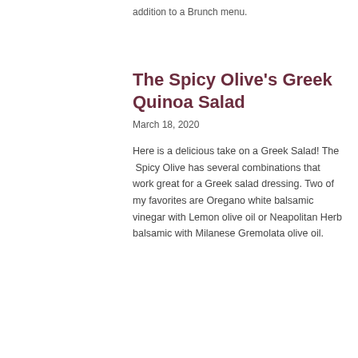addition to a Brunch menu.
The Spicy Olive's Greek Quinoa Salad
March 18, 2020
Here is a delicious take on a Greek Salad! The  Spicy Olive has several combinations that work great for a Greek salad dressing. Two of my favorites are Oregano white balsamic vinegar with Lemon olive oil or Neapolitan Herb balsamic with Milanese Gremolata olive oil.